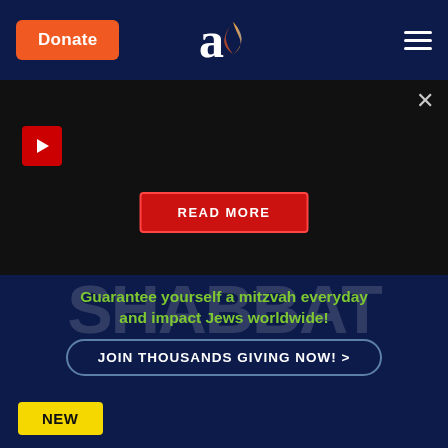Donate | [Aish logo] | [Menu]
[Figure (screenshot): Dark video panel with a red play button in the top left, a close X button in the top right, and a red 'READ MORE' button centered near the bottom]
[Figure (infographic): Dark navy donation banner with large faint SHABBAT text in background, green text 'Guarantee yourself a mitzvah everyday and impact Jews worldwide!' and a 'JOIN THOUSANDS GIVING NOW! >' button]
[Figure (screenshot): Dark navy panel with yellow 'NEW' badge on the left]